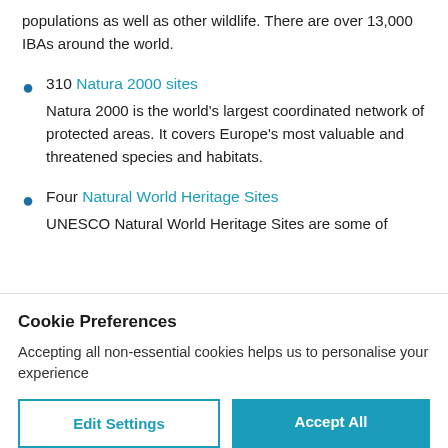populations as well as other wildlife. There are over 13,000 IBAs around the world.
310 Natura 2000 sites
Natura 2000 is the world's largest coordinated network of protected areas. It covers Europe's most valuable and threatened species and habitats.
Four Natural World Heritage Sites
UNESCO Natural World Heritage Sites are some of
Cookie Preferences
Accepting all non-essential cookies helps us to personalise your experience
Edit Settings | Accept All